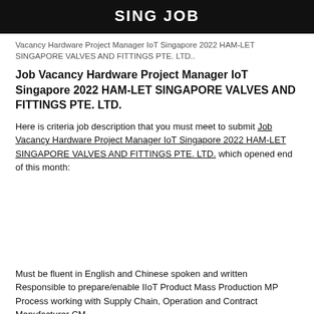SING JOB
Vacancy Hardware Project Manager IoT Singapore 2022 HAM-LET SINGAPORE VALVES AND FITTINGS PTE. LTD..
Job Vacancy Hardware Project Manager IoT Singapore 2022 HAM-LET SINGAPORE VALVES AND FITTINGS PTE. LTD.
Here is criteria job description that you must meet to submit Job Vacancy Hardware Project Manager IoT Singapore 2022 HAM-LET SINGAPORE VALVES AND FITTINGS PTE. LTD. which opened end of this month:
Must be fluent in English and Chinese spoken and written Responsible to prepare/enable IIoT Product Mass Production MP Process working with Supply Chain, Operation and Contract Manufacturer CM.
Only candidates that satisfies to requirements above of that will be called upon to perform interviewed. For that, if you are interested and